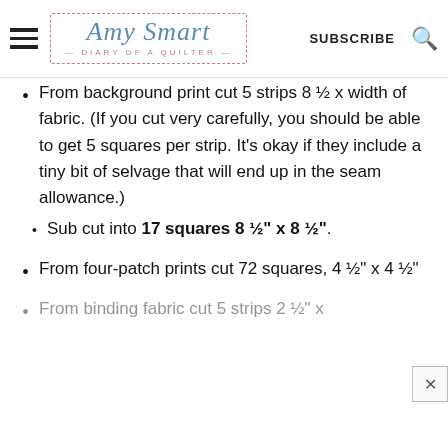Amy Smart — DIARY of a QUILTER — SUBSCRIBE
From background print cut 5 strips 8 ½ x width of fabric. (If you cut very carefully, you should be able to get 5 squares per strip. It's okay if they include a tiny bit of selvage that will end up in the seam allowance.)
Sub cut into 17 squares 8 ½" x 8 ½".
From four-patch prints cut 72 squares, 4 ½" x 4 ½"
From binding fabric cut 5 strips 2 ½" x